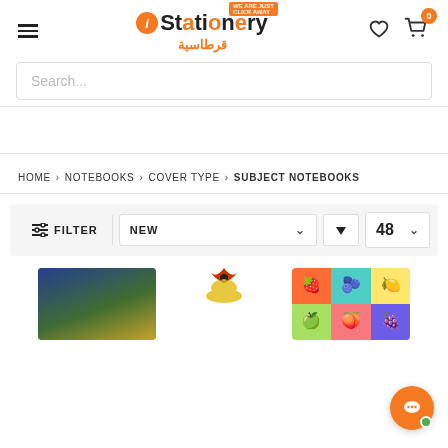[Figure (logo): iStationery logo with orange oval i, van graphic, and Arabic text قرطاسية]
Search...
HOME > NOTEBOOKS > COVER TYPE > SUBJECT NOTEBOOKS
FILTER  NEW ↓  48
[Figure (photo): Product card showing a notebook with nature scene cover]
[Figure (logo): Brand logo (bird/chicken icon)]
[Figure (photo): Product card showing a colorful fruits-patterned notebook cover]